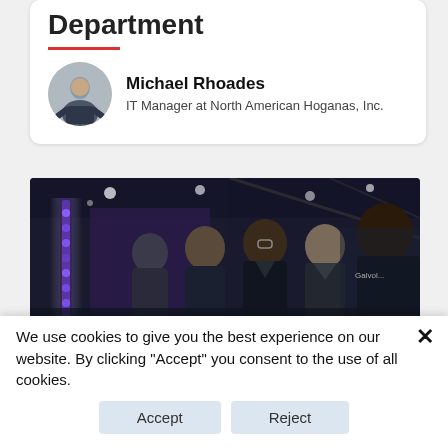Department
[Figure (photo): Circular avatar photo of Michael Rhoades, a man in dark clothing standing with arms on hips in what appears to be a medical or industrial setting]
Michael Rhoades
IT Manager at North American Hoganas, Inc.
[Figure (photo): Conference or trade show floor photo showing several men in suits gathered around a display booth with purple/blue LED lighting]
We use cookies to give you the best experience on our website. By clicking "Accept" you consent to the use of all cookies.